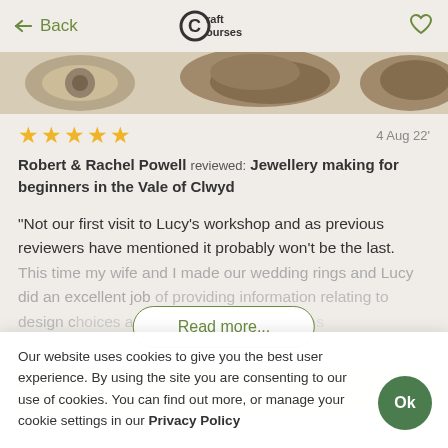← Back  Craft Courses  ♡
[Figure (photo): Partial image strip showing craft/jewellery items at top of page]
★★★★★  4 Aug 22'
Robert & Rachel Powell reviewed: Jewellery making for beginners in the Vale of Clwyd
"Not our first visit to Lucy's workshop and as previous reviewers have mentioned it probably won't be the last. This time my wife and I made our wedding rings and Lucy did an excellent job of providing information relating to design choices and guidance on our designs
Read more...
Our website uses cookies to give you the best user experience. By using the site you are consenting to our use of cookies. You can find out more, or manage your cookie settings in our Privacy Policy